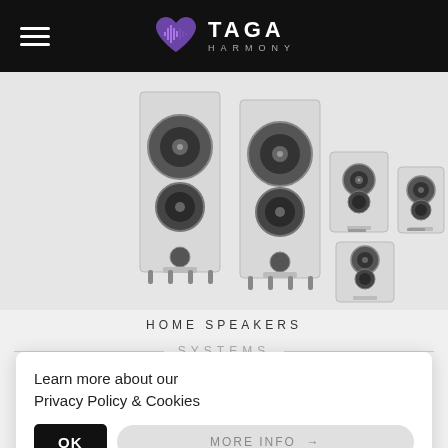TAGA HARMONY
[Figure (photo): A set of white home speaker systems arranged together — two tall floor-standing speakers, one center speaker, and two bookshelf/surround speakers, all in white/light grey finish, displayed on a light grey background.]
HOME SPEAKERS
SYSTEMS
TAV 5.0: TAV-607F + C + S
Learn more about our
Privacy Policy & Cookies
MORE INFO →
OK